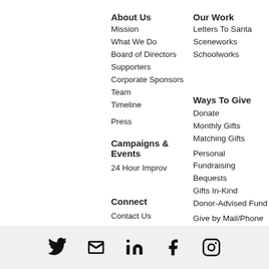About Us
Mission
What We Do
Board of Directors
Supporters
Corporate Sponsors
Team
Timeline
Press
Campaigns & Events
24 Hour Improv
Connect
Contact Us
Sign Up
Our Work
Letters To Santa
Sceneworks
Schoolworks
Ways To Give
Donate
Monthly Gifts
Matching Gifts
Personal Fundraising
Bequests
Gifts In-Kind
Donor-Advised Fund
Give by Mail/Phone
Good Patrons
Poverty Alleviation Chicago (DBA Poverty Alleviation Charities) is a registered 501(c)(3) public charity | EIN: 83-2013132
[Figure (other): Social media icons: Twitter, Email, LinkedIn, Facebook, Instagram]